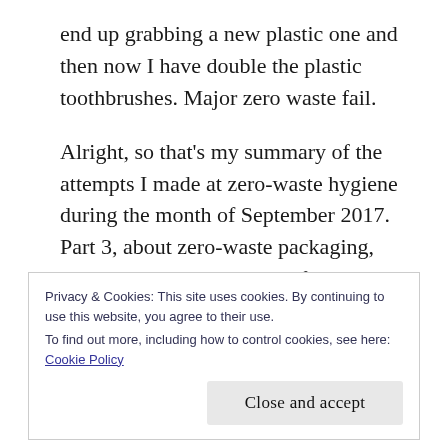end up grabbing a new plastic one and then now I have double the plastic toothbrushes. Major zero waste fail.
Alright, so that's my summary of the attempts I made at zero-waste hygiene during the month of September 2017. Part 3, about zero-waste packaging, sustainable transit, and my final thoughts, will hopefully come to this blog in the next week or two! Stay tuned!
Privacy & Cookies: This site uses cookies. By continuing to use this website, you agree to their use.
To find out more, including how to control cookies, see here: Cookie Policy
Close and accept